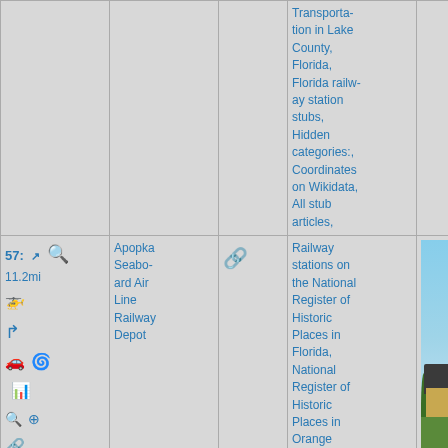|  | Name |  | Categories | Photo |
| --- | --- | --- | --- | --- |
|  | tion in Lake County, Florida, Florida railway station stubs, Hidden categories:, Coordinates on Wikidata, All stub articles, |  |  |  |
| 57: 11.2mi [icons] | Apopka Seaboard Air Line Railway Depot | [link icon] | Railway stations on the National Register of Historic Places in Florida, National Register of Historic Places in Orange County, Florida, Seaboard Air Line Railroad | [photo of building] |
[Figure (photo): Photo of the Apopka Seaboard Air Line Railway Depot — a long, low yellow building with a dark roof, green lawn in front, blue sky behind.]